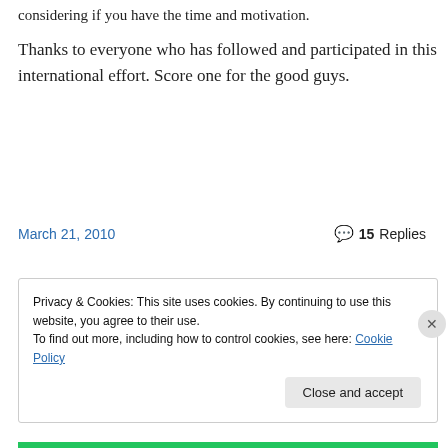considering if you have the time and motivation.
Thanks to everyone who has followed and participated in this international effort. Score one for the good guys.
March 21, 2010
15 Replies
Privacy & Cookies: This site uses cookies. By continuing to use this website, you agree to their use.
To find out more, including how to control cookies, see here: Cookie Policy
Close and accept